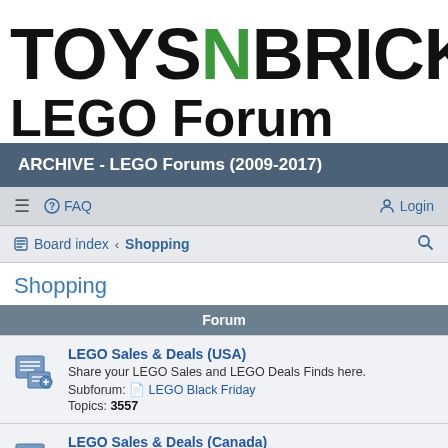[Figure (logo): ToysnBricks logo with green N and LEGO Forum text]
ARCHIVE - LEGO Forums (2009-2017)
FAQ  Login  Board index  Shopping  Search
Shopping
Forum
LEGO Sales & Deals (USA)
Share your LEGO Sales and LEGO Deals Finds here.
Subforum: LEGO Black Friday
Topics: 3557
LEGO Sales & Deals (Canada)
This is the LEGO Sales Forum for members from Canada and Europe.